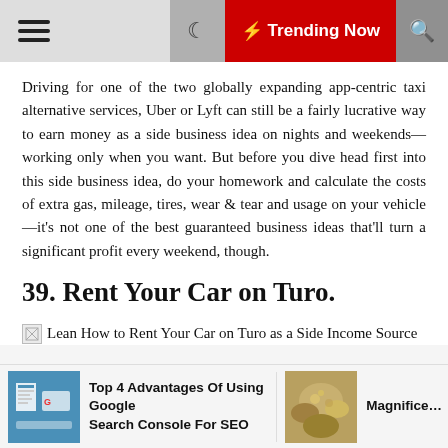☰  ☾  ⚡ Trending Now  🔍
Driving for one of the two globally expanding app-centric taxi alternative services, Uber or Lyft can still be a fairly lucrative way to earn money as a side business idea on nights and weekends—working only when you want. But before you dive head first into this side business idea, do your homework and calculate the costs of extra gas, mileage, tires, wear & tear and usage on your vehicle—it's not one of the best guaranteed business ideas that'll turn a significant profit every weekend, though.
39. Rent Your Car on Turo.
[Figure (illustration): Broken image placeholder followed by caption text: Learn How to Rent Your Car on Turo as a Side Income Source]
Top 4 Advantages Of Using Google Search Console For SEO | Magnifice...